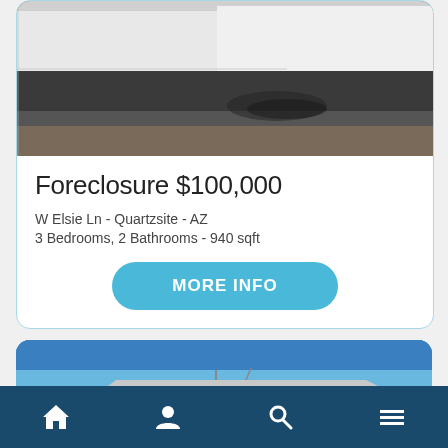[Figure (photo): Exterior photo of a foreclosure property showing dark asphalt/dirt ground with a white metal building in the background]
Foreclosure $100,000
W Elsie Ln - Quartzsite - AZ
3 Bedrooms, 2 Bathrooms - 940 sqft
[Figure (photo): Exterior photo of a second property showing a roofline against a blue sky]
Bottom navigation bar with home, profile, search, and menu icons